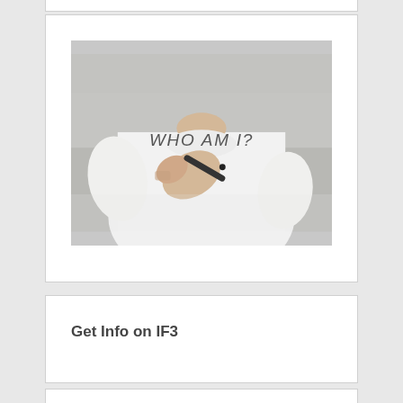[Figure (photo): A person in a white t-shirt holding a marker and writing 'WHO AM I?' on a transparent surface. The text appears in the center of the image in a casual handwriting style. The person's face is cropped out of frame.]
Get Info on IF3